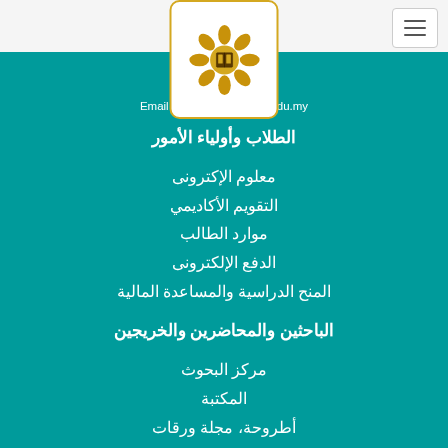[Figure (logo): IIUM university logo - ornate flower/geometric pattern in gold color on white background]
Phone: ...3421
Fax: ...053
Email : webmaster@iium.edu.my
الطلاب وأولياء الأمور
معلوم الإكترونى
التقويم الأكاديمي
موارد الطالب
الدفع الإلكترونى
المنح الدراسية والمساعدة المالية
الباحثين والمحاضرين والخريجين
مركز البحوث
المكتبة
أطروحة، مجلة ورقات
قائمة الخبراء
مستودع الجامعة